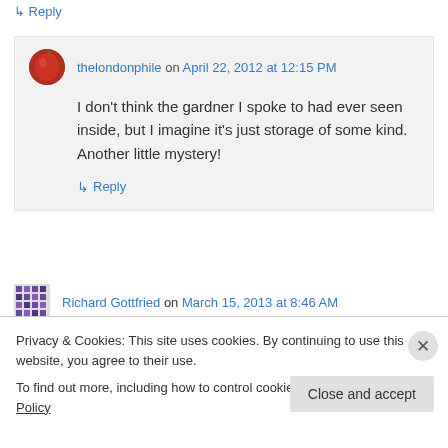↳ Reply
thelondonphile on April 22, 2012 at 12:15 PM
I don't think the gardner I spoke to had ever seen inside, but I imagine it's just storage of some kind. Another little mystery!
↳ Reply
Richard Gottfried on March 15, 2013 at 8:46 AM
Privacy & Cookies: This site uses cookies. By continuing to use this website, you agree to their use. To find out more, including how to control cookies, see here: Cookie Policy
Close and accept